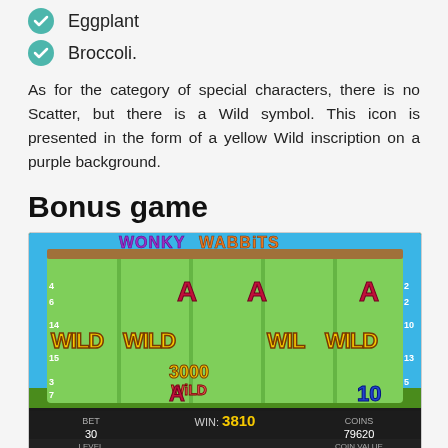Eggplant
Broccoli.
As for the category of special characters, there is no Scatter, but there is a Wild symbol. This icon is presented in the form of a yellow Wild inscription on a purple background.
Bonus game
[Figure (screenshot): Screenshot of the Wonky Wabbits slot game showing cartoon rabbit characters, WILD symbols across multiple reels, WIN: 3810, BET 30, COINS 79620, LEVEL and COIN VALUE indicators at the bottom.]